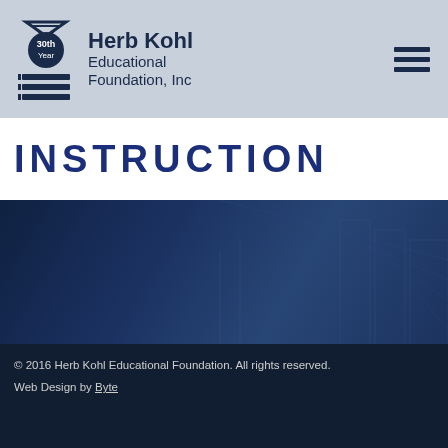Herb Kohl Educational Foundation, Inc
INSTRUCTION
[Figure (screenshot): Blue-tinted hallway photo background with Herb Kohl Educational Foundation 30th Year logo, social media icons (Facebook, Twitter), and Contact Us link]
© 2016 Herb Kohl Educational Foundation. All rights reserved. Web Design by Byte